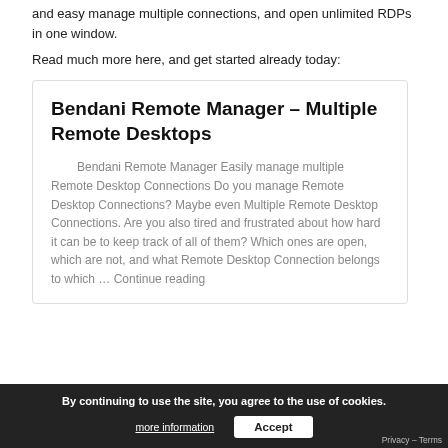and easy manage multiple connections, and open unlimited RDPs in one window.
Read much more here, and get started already today:
Bendani Remote Manager – Multiple Remote Desktops
Bendani Remote Manager Easily manage multiple Remote Desktop Connections Do you manage Remote Desktop Connections? Maybe even Multiple Remote Desktop Connections. Are you also tired and frustrated about how hard it can be to keep track of all of them? Which ones are open, which are not, and what Remote Desktop Connection belongs to which … Continue reading
By continuing to use the site, you agree to the use of cookies.
more information
Accept
Privacy – Terms